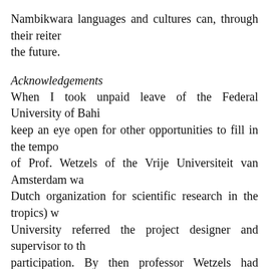Nambikwara languages and cultures can, through their reiter the future.
Acknowledgements
When I took unpaid leave of the Federal University of Bahi keep an eye open for other opportunities to fill in the tempo of Prof. Wetzels of the Vrije Universiteit van Amsterdam wa Dutch organization for scientific research in the tropics) w University referred the project designer and supervisor to th participation. By then professor Wetzels had collaborated University. They accepted the suggestion by Prof. Adelaar ar matter lies within my normal research area and I found the is they gave me the opportunity to make some suggestions and approved several months later. I thank them all for the opp fruitful cooperation that followed. The WOTRO (part of scientific research) henceforth financed the post-doctorate p thank the WOTRO and NWO for the grant (WAG 52-897) th